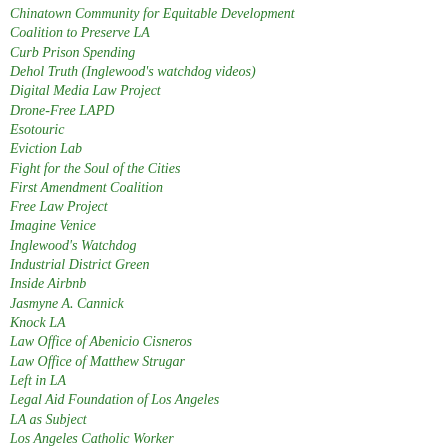Chinatown Community for Equitable Development
Coalition to Preserve LA
Curb Prison Spending
Dehol Truth (Inglewood's watchdog videos)
Digital Media Law Project
Drone-Free LAPD
Esotouric
Eviction Lab
Fight for the Soul of the Cities
First Amendment Coalition
Free Law Project
Imagine Venice
Inglewood's Watchdog
Industrial District Green
Inside Airbnb
Jasmyne A. Cannick
Knock LA
Law Office of Abenicio Cisneros
Law Office of Matthew Strugar
Left in LA
Legal Aid Foundation of Los Angeles
LA as Subject
Los Angeles Catholic Worker
Los Angeles City Charter Blog
LA Community Action Network